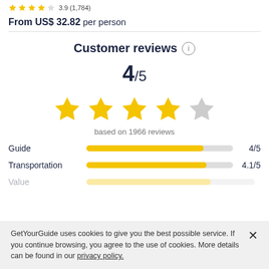3.9 (1,784) From US$ 32.82 per person
Customer reviews ℹ
4/5
[Figure (other): 4 out of 5 stars — 4 filled yellow stars and 1 empty grey star]
based on 1966 reviews
[Figure (bar-chart): Category ratings]
GetYourGuide uses cookies to give you the best possible service. If you continue browsing, you agree to the use of cookies. More details can be found in our privacy policy.